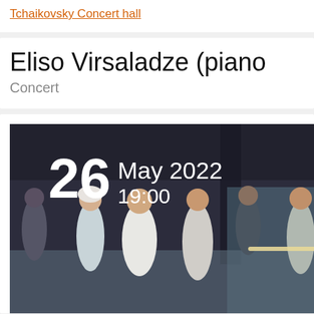Tchaikovsky Concert hall
Eliso Virsaladze (piano
Concert
[Figure (photo): Theater stage performance photo with date overlay showing '26 May 2022 19:00'. Performers in period costumes on a dramatic dark stage set.]